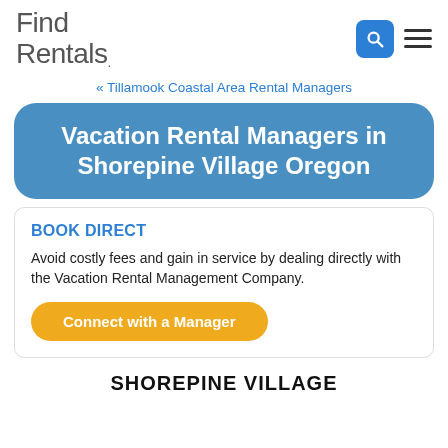Find Rentals.
« Tillamook Coastal Area Rental Managers
Vacation Rental Managers in Shorepine Village Oregon
BOOK DIRECT
Avoid costly fees and gain in service by dealing directly with the Vacation Rental Management Company.
Connect with a Manager
SHOREPINE VILLAGE